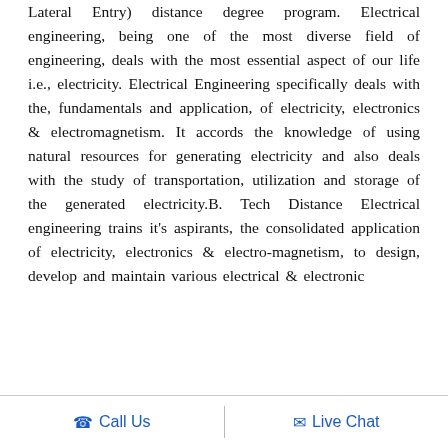Lateral Entry) distance degree program. Electrical engineering, being one of the most diverse field of engineering, deals with the most essential aspect of our life i.e., electricity. Electrical Engineering specifically deals with the, fundamentals and application, of electricity, electronics & electromagnetism. It accords the knowledge of using natural resources for generating electricity and also deals with the study of transportation, utilization and storage of the generated electricity.B. Tech Distance Electrical engineering trains it's aspirants, the consolidated application of electricity, electronics & electro-magnetism, to design, develop and maintain various electrical & electronic
Call Us   Live Chat